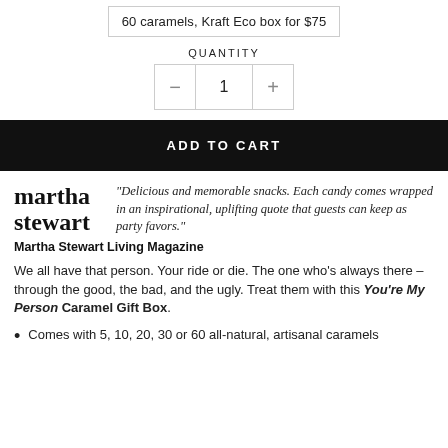60 caramels, Kraft Eco box for $75
QUANTITY
- 1 +
ADD TO CART
[Figure (logo): martha stewart logo text in bold serif font]
"Delicious and memorable snacks. Each candy comes wrapped in an inspirational, uplifting quote that guests can keep as party favors."
Martha Stewart Living Magazine
We all have that person. Your ride or die. The one who's always there – through the good, the bad, and the ugly. Treat them with this You're My Person Caramel Gift Box.
Comes with 5, 10, 20, 30 or 60 all-natural, artisanal caramels